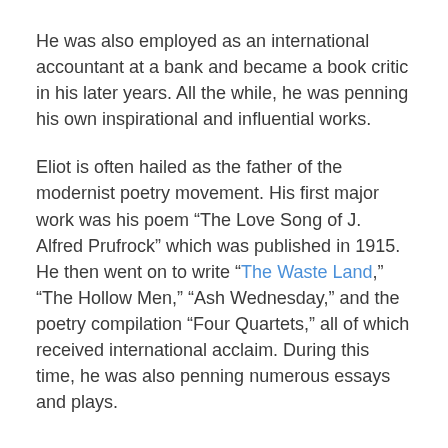He was also employed as an international accountant at a bank and became a book critic in his later years. All the while, he was penning his own inspirational and influential works.
Eliot is often hailed as the father of the modernist poetry movement. His first major work was his poem “The Love Song of J. Alfred Prufrock” which was published in 1915. He then went on to write “The Waste Land,” “The Hollow Men,” “Ash Wednesday,” and the poetry compilation “Four Quartets,” all of which received international acclaim. During this time, he was also penning numerous essays and plays.